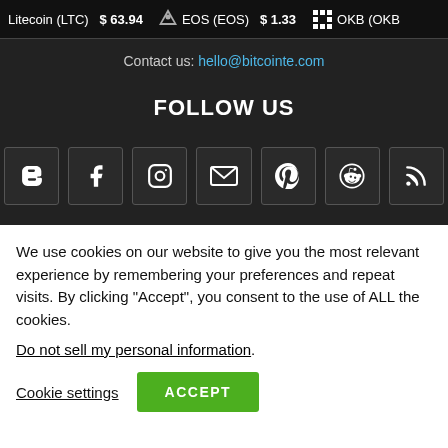Litecoin (LTC) $63.94  EOS (EOS) $1.33  OKB (OKB)
Contact us: hello@bitcointe.com
FOLLOW US
[Figure (infographic): Row of 7 social media icon boxes: Blogger, Facebook, Instagram, Email, Pinterest, Reddit, RSS]
We use cookies on our website to give you the most relevant experience by remembering your preferences and repeat visits. By clicking "Accept", you consent to the use of ALL the cookies.
Do not sell my personal information.
Cookie settings  ACCEPT